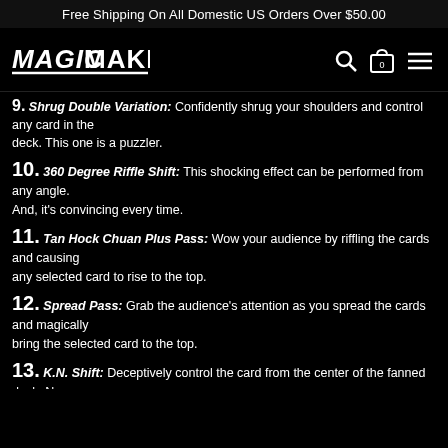Free Shipping On All Domestic US Orders Over $50.00
[Figure (logo): Magic Makers logo - bold italic text with underline, white on black]
9. Shrug Double Variation: Confidently shrug your shoulders and control any card in the deck. This one is a puzzler.
10. 360 Degree Riffle Shift: This shocking effect can be performed from any angle. And, it's convincing every time.
11. Tan Hock Chuan Plus Pass: Wow your audience by riffling the cards and causing any selected card to rise to the top.
12. Spread Pass: Grab the audience's attention as you spread the cards and magically bring the selected card to the top.
13. K.N. Shift: Deceptively control the card from the center of the fanned deck. No one will see this one coming.
14. Charlies Cut: Insert the card in between two lifted packets. Close the packets in your hand and gain control of the card.
15. Top Card Cover Pass: This powerful shift allows you to control any card to any position in the deck.